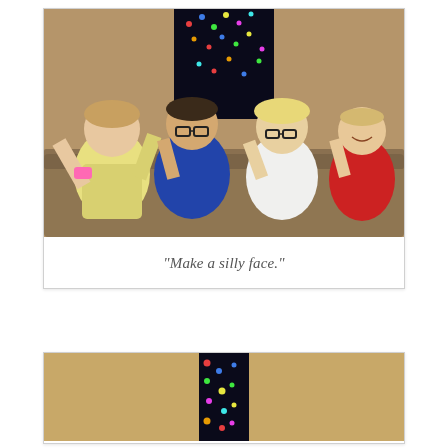[Figure (photo): Four children in pajamas sitting on a couch making silly faces, raising their hands to their cheeks. Christmas lights visible in background window.]
“Make a silly face.”
[Figure (photo): Partial view of a second photo showing a tan/beige wall and a Christmas tree with colorful lights in a doorway.]